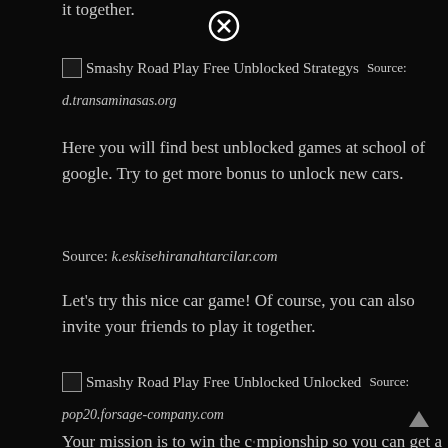it together.
[Figure (screenshot): Close/X button icon circle]
[Figure (screenshot): Broken image placeholder labeled 'Smashy Road Play Free Unblocked Strategys' followed by Source:]
d.transaminasas.org
Here you will find best unblocked games at school of google. Try to get more bonus to unlock new cars.
Source: k.eskisehiranahtarcilar.com
Let's try this nice car game! Of course, you can also invite your friends to play it together.
[Figure (screenshot): Broken image placeholder labeled 'Smashy Road Play Free Unblocked Unlocked' followed by Source:]
pop20.forsage-company.com
[Figure (screenshot): Up-arrow triangle icon]
Your mission is to win the championship so you can get a
[Figure (screenshot): Close/X button icon circle inline in text]